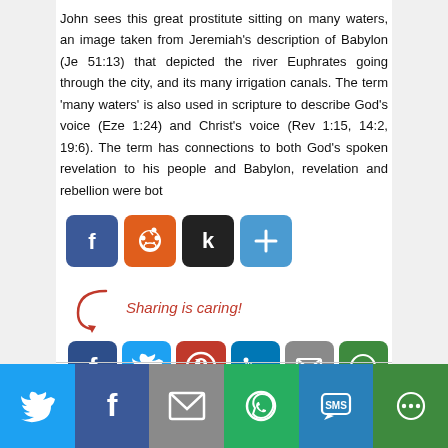John sees this great prostitute sitting on many waters, an image taken from Jeremiah's description of Babylon (Je 51:13) that depicted the river Euphrates going through the city, and its many irrigation canals. The term 'many waters' is also used in scripture to describe God's voice (Eze 1:24) and Christ's voice (Rev 1:15, 14:2, 19:6). The term has connections to both God's spoken revelation to his people and Babylon, revelation and rebellion were bot
[Figure (infographic): Row of social share buttons: Facebook (blue), Reddit (orange), Kbin (dark), Share/Add (blue)]
[Figure (infographic): Sharing is caring! section with arrow and social share buttons: Facebook, Twitter, Pinterest, LinkedIn, Email, More]
Proudly powered by WordPress
[Figure (infographic): Bottom share bar with Twitter, Facebook, Email, WhatsApp, SMS, More buttons]